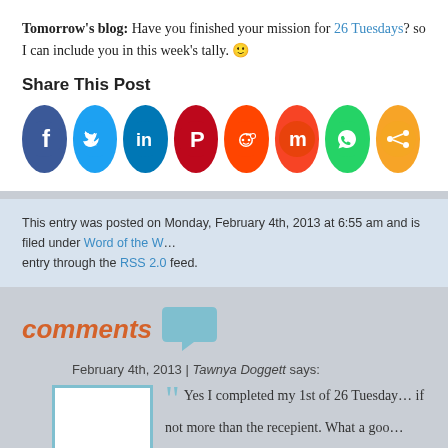Tomorrow's blog: Have you finished your mission for 26 Tuesdays? so I can include you in this week's tally. 🙂
Share This Post
[Figure (infographic): Row of 8 social media sharing icons: Facebook (blue), Twitter (light blue), LinkedIn (dark blue), Pinterest (red), Reddit (orange-red), Mix (orange-red), WhatsApp (green), Share (orange)]
This entry was posted on Monday, February 4th, 2013 at 6:55 am and is filed under Word of the W... entry through the RSS 2.0 feed.
comments
February 4th, 2013 | Tawnya Doggett says:
Yes I completed my 1st of 26 Tuesday... if not more than the recepient. What a goo...